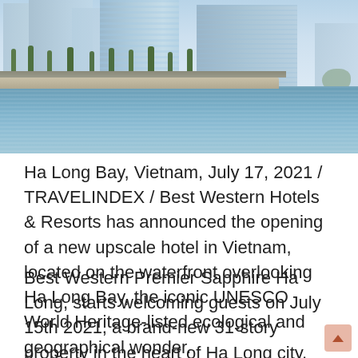[Figure (photo): Waterfront cityscape photo showing tall modern high-rise buildings along Ha Long Bay, Vietnam. Trees line a seawall in the foreground with calm water in the front and a cloudy sky above.]
Ha Long Bay, Vietnam, July 17, 2021 / TRAVELINDEX / Best Western Hotels & Resorts has announced the opening of a new upscale hotel in Vietnam, located on the waterfront overlooking Ha Long Bay, the iconic UNESCO World Heritage-listed ecological and geographical wonder.
Best Western Premier Sapphire Ha Long, starts welcoming guests on July 15th 2021, a brand-new 31-story property in the heart of Ha Long city, located on the waterfront of Hong Gai overlooking Ha Long Bay. Moments away from the beach, shopping malls, theme